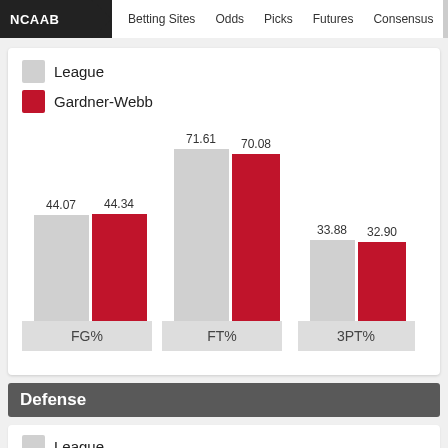NCAAB  Betting Sites  Odds  Picks  Futures  Consensus
[Figure (grouped-bar-chart): Shooting Percentages]
Defense
League